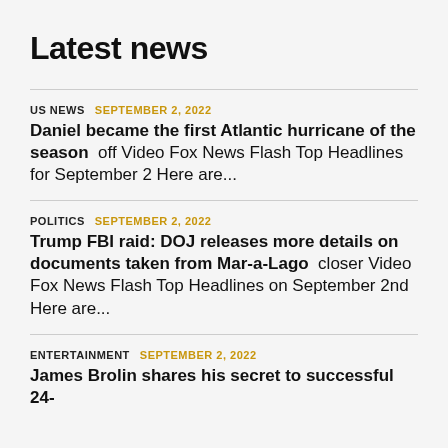Latest news
US NEWS  SEPTEMBER 2, 2022
Daniel became the first Atlantic hurricane of the season  off Video Fox News Flash Top Headlines for September 2 Here are...
POLITICS  SEPTEMBER 2, 2022
Trump FBI raid: DOJ releases more details on documents taken from Mar-a-Lago  closer Video Fox News Flash Top Headlines on September 2nd Here are...
ENTERTAINMENT  SEPTEMBER 2, 2022
James Brolin shares his secret to successful 24-